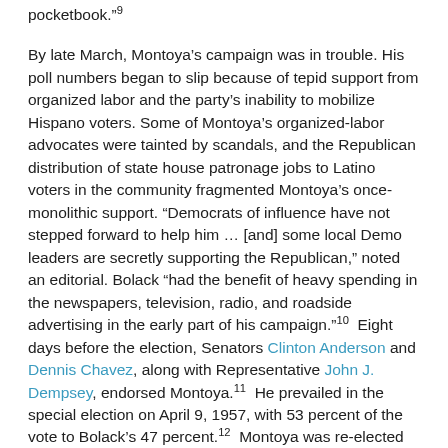pocketbook."³
By late March, Montoya's campaign was in trouble. His poll numbers began to slip because of tepid support from organized labor and the party's inability to mobilize Hispano voters. Some of Montoya's organized-labor advocates were tainted by scandals, and the Republican distribution of state house patronage jobs to Latino voters in the community fragmented Montoya's once-monolithic support. “Democrats of influence have not stepped forward to help him … [and] some local Demo leaders are secretly supporting the Republican,” noted an editorial. Bolack “had the benefit of heavy spending in the newspapers, television, radio, and roadside advertising in the early part of his campaign.”¹⁰  Eight days before the election, Senators Clinton Anderson and Dennis Chavez, along with Representative John J. Dempsey, endorsed Montoya.¹¹  He prevailed in the special election on April 9, 1957, with 53 percent of the vote to Bolack’s 47 percent.¹²  Montoya was re-elected to his At-Large seat (New Mexico had two at the time) for three more terms, with pluralities in the four-way 1958 race (32 percent) and in the six-way 1962 general election (29 percent). In 1962 he won with a 53 percent majority.¹³